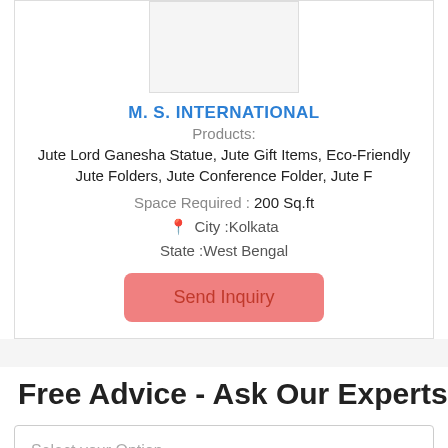[Figure (photo): Company logo or product placeholder image]
M. S. INTERNATIONAL
Products:
Jute Lord Ganesha Statue, Jute Gift Items, Eco-Friendly Jute Folders, Jute Conference Folder, Jute F
Space Required : 200 Sq.ft
City :Kolkata
State :West Bengal
Send Inquiry
Free Advice - Ask Our Experts
Select your Option
Description